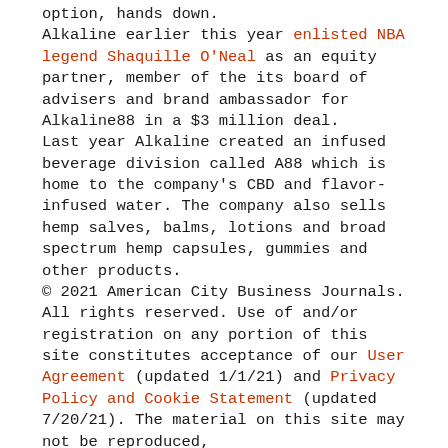option, hands down. Alkaline earlier this year enlisted NBA legend Shaquille O'Neal as an equity partner, member of the its board of advisers and brand ambassador for Alkaline88 in a $3 million deal. Last year Alkaline created an infused beverage division called A88 which is home to the company's CBD and flavor-infused water. The company also sells hemp salves, balms, lotions and broad spectrum hemp capsules, gummies and other products.
© 2021 American City Business Journals. All rights reserved. Use of and/or registration on any portion of this site constitutes acceptance of our User Agreement (updated 1/1/21) and Privacy Policy and Cookie Statement (updated 7/20/21). The material on this site may not be reproduced,